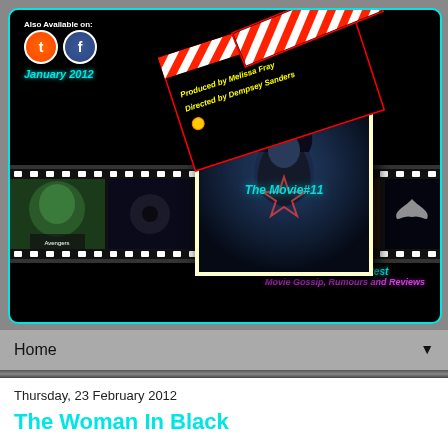[Figure (screenshot): Website header banner with black background, teal border, film clapperboard graphic, woman photo, film strip with movie thumbnails, social media icons (Twitter, Facebook), date 'January 2012', and text 'Home to the latest Movie Gossip, Rumours and Reviews'. Site name 'The Movie#11'.]
Also Available on:
January 2012
Home to the latest Movie Gossip, Rumours and Reviews
Home ▼
Thursday, 23 February 2012
The Woman In Black